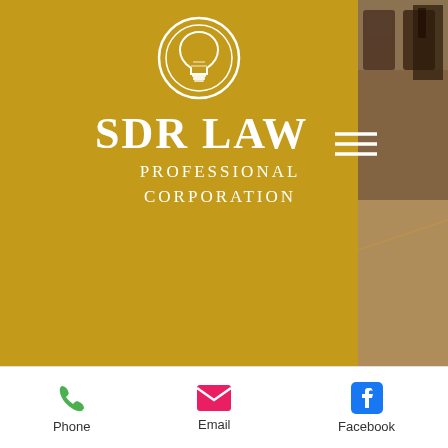[Figure (screenshot): SDR Law Professional Corporation website header with gold background, lightbulb logo icon, company name, hamburger menu, and a partial photo of doors on the right side]
Last Name
Email
Phone  Email  Facebook